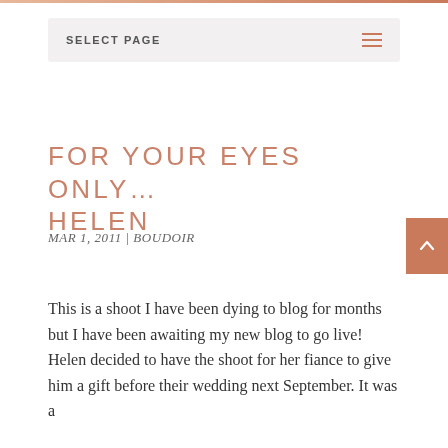SELECT PAGE
FOR YOUR EYES ONLY… HELEN
MAR 1, 2011 | BOUDOIR
This is a shoot I have been dying to blog for months but I have been awaiting my new blog to go live! Helen decided to have the shoot for her fiance to give him a gift before their wedding next September. It was a